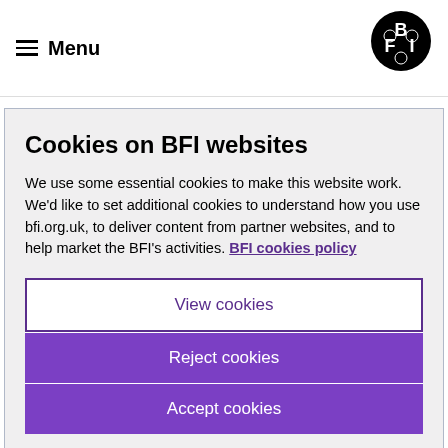Menu | BFI
costume drama than many others in this list – it's handsomely mounted, classically shot and perhaps
Cookies on BFI websites
We use some essential cookies to make this website work. We'd like to set additional cookies to understand how you use bfi.org.uk, to deliver content from partner websites, and to help market the BFI's activities. BFI cookies policy
View cookies
Reject cookies
Accept cookies